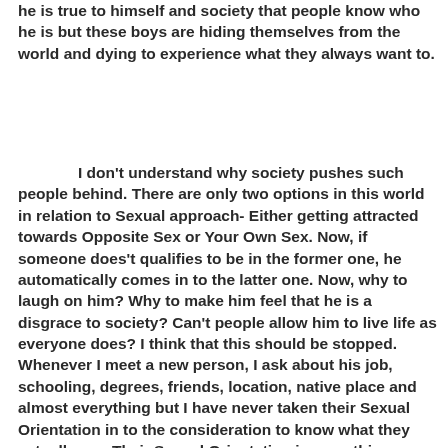he is true to himself and society that people know who he is but these boys are hiding themselves from the world and dying to experience what they always want to.
I don't understand why society pushes such people behind. There are only two options in this world in relation to Sexual approach- Either getting attracted towards Opposite Sex or Your Own Sex. Now, if someone does't qualifies to be in the former one, he automatically comes in to the latter one. Now, why to laugh on him? Why to make him feel that he is a disgrace to society? Can't people allow him to live life as everyone does? I think that this should be stopped. Whenever I meet a new person, I ask about his job, schooling, degrees, friends, location, native place and almost everything but I have never taken their Sexual Orientation in to the consideration to know what they actually are. Their Sexual Orientation is something which will bring no effect in my life. We should stop judging people on the criteria of their sexual approach